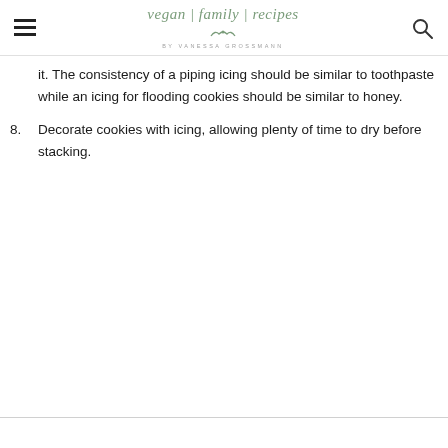vegan | family | recipes by Vanessa Grossmann
it. The consistency of a piping icing should be similar to toothpaste while an icing for flooding cookies should be similar to honey.
8. Decorate cookies with icing, allowing plenty of time to dry before stacking.